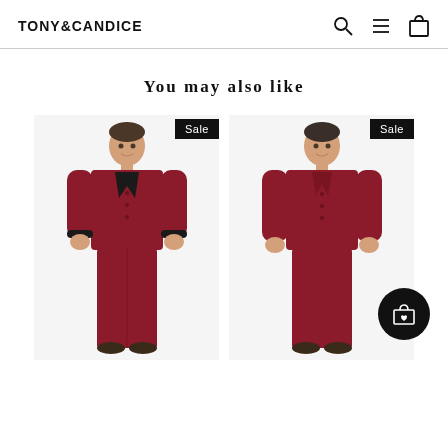TONY&CANDICE
You may also like
[Figure (photo): Man wearing dark red/burgundy satin pajama set with black trim, full set with top and pants, Sale badge shown]
[Figure (photo): Man wearing dark red/burgundy satin pajama set without black trim, full set with top and pants, Sale badge shown]